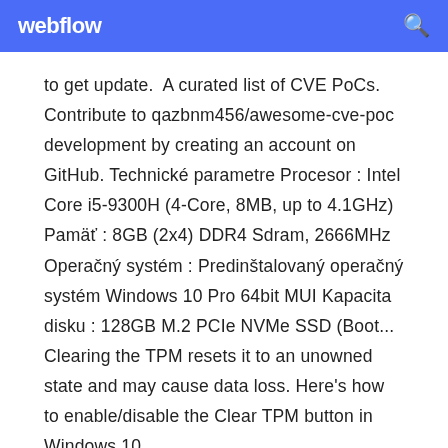webflow
to get update.  A curated list of CVE PoCs. Contribute to qazbnm456/awesome-cve-poc development by creating an account on GitHub. Technické parametre Procesor : Intel Core i5-9300H (4-Core, 8MB, up to 4.1GHz) Pamäť : 8GB (2x4) DDR4 Sdram, 2666MHz Operačný systém : Predinštalovaný operačný systém Windows 10 Pro 64bit MUI Kapacita disku : 128GB M.2 PCIe NVMe SSD (Boot... Clearing the TPM resets it to an unowned state and may cause data loss. Here's how to enable/disable the Clear TPM button in Windows 10.